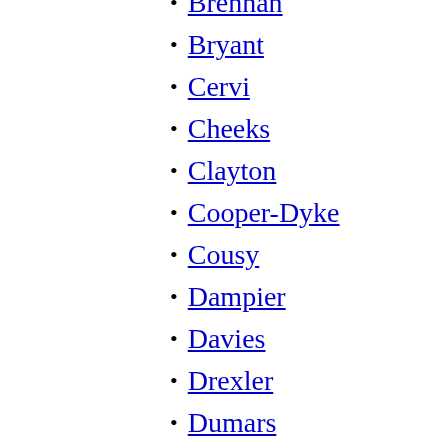Brennan
Bryant
Cervi
Cheeks
Clayton
Cooper-Dyke
Cousy
Dampier
Davies
Drexler
Dumars
Edwards
Frazier
Friedman
Galis
Gervin
Goodrich
Greer
Guerin
Hanson
Haynes
Holman
Hyatt
Isaacs
Iverson
Ivanetti